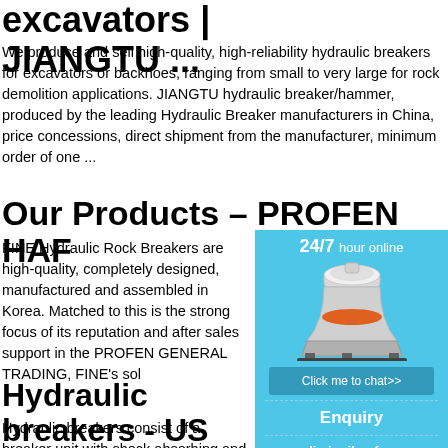excavators | JIANGTU ...
We produce and sell high-quality, high-reliability hydraulic breakers for excavators or backhoes, ranging from small to very large for rock demolition applications. JIANGTU hydraulic breaker/hammer, produced by the leading Hydraulic Breaker manufacturers in China, price concessions, direct shipment from the manufacturer, minimum order of one ...
Our Products – PROFEN HAF
FINE Hydraulic Rock Breakers are high-quality, completely designed, manufactured and assembled in Korea. Matched to this is the strong focus of its reputation and after sales support in the PROFEN GENERAL TRADING, FINE's sol
Hydraulic breakers - US
Hydraulic breakers consist of a breaker unit with shock absorbing and vibration damping surround and protect the breaker unit), and "chisel" point). The breaker unit can be made (monoblock) or in multiple parts secured to
[Figure (infographic): Chat widget showing 24/7 hour online label, an image of industrial cone crusher/hydraulic breaker machine, a Click me to chat>> button, an Enquiry section, and limingjlmofen text at bottom, all on a blue background.]